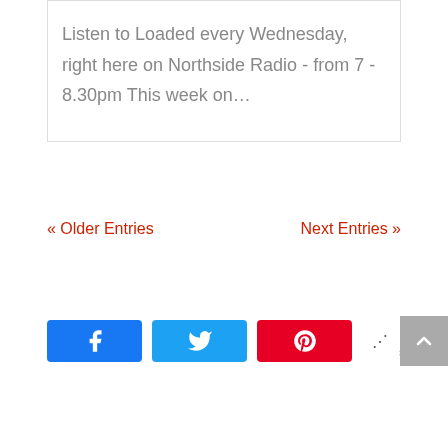Listen to Loaded every Wednesday, right here on Northside Radio - from 7 - 8.30pm This week on…
« Older Entries
Next Entries »
[Figure (other): Social share buttons: Facebook (blue), Twitter (light blue), Pinterest (red), share count showing 0 SHARES, and a scroll-to-top button (grey)]